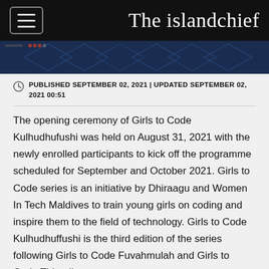The islandchief
[Figure (screenshot): Dark blue banner image with overlapping geometric diamond/rhombus shapes and some interface elements visible at top]
PUBLISHED SEPTEMBER 02, 2021 | UPDATED SEPTEMBER 02, 2021 00:51
The opening ceremony of Girls to Code Kulhudhufushi was held on August 31, 2021 with the newly enrolled participants to kick off the programme scheduled for September and October 2021. Girls to Code series is an initiative by Dhiraagu and Women In Tech Maldives to train young girls on coding and inspire them to the field of technology. Girls to Code Kulhudhuffushi is the third edition of the series following Girls to Code Fuvahmulah and Girls to Code Thinadhoo.